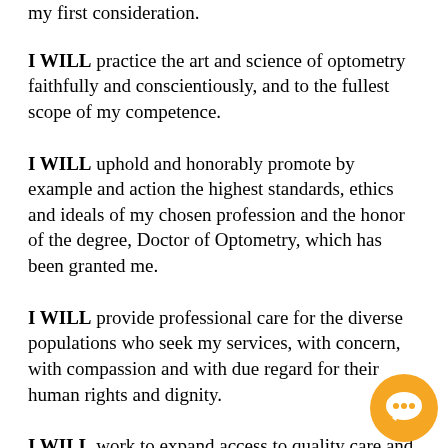my first consideration.
I WILL practice the art and science of optometry faithfully and conscientiously, and to the fullest scope of my competence.
I WILL uphold and honorably promote by example and action the highest standards, ethics and ideals of my chosen profession and the honor of the degree, Doctor of Optometry, which has been granted me.
I WILL provide professional care for the diverse populations who seek my services, with concern, with compassion and with due regard for their human rights and dignity.
I WILL work to expand access to quality care and improve health equity for all communiti...
I WILL ...